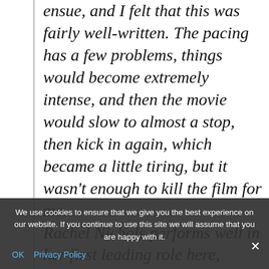ensue, and I felt that this was fairly well-written. The pacing has a few problems, things would become extremely intense, and then the movie would slow to almost a stop, then kick in again, which became a little tiring, but it wasn't enough to kill the film for me. Rachel Nichols performs well in her first leading role here, playing the ... is plays the quirky, offbeat character (it somewhat reminded me of his ...
We use cookies to ensure that we give you the best experience on our website. If you continue to use this site we will assume that you are happy with it.